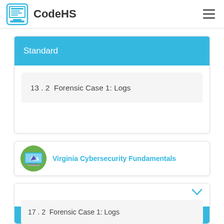CodeHS
Standard
13 . 2  Forensic Case 1: Logs
Virginia Cybersecurity Fundamentals
Standard
17 . 2  Forensic Case 1: Logs